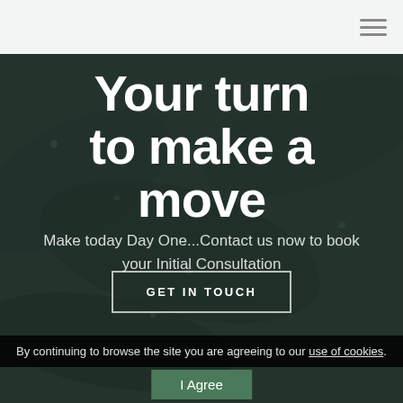Your turn to make a move
Make today Day One...Contact us now to book your Initial Consultation
GET IN TOUCH
By continuing to browse the site you are agreeing to our use of cookies.
I Agree